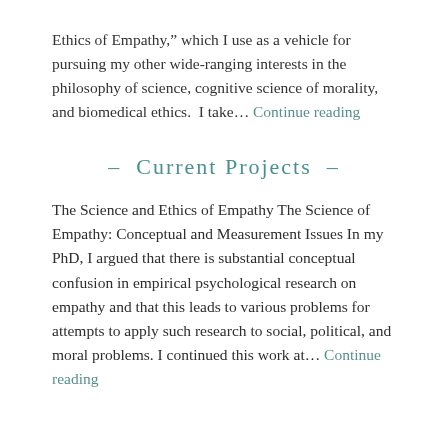Ethics of Empathy,” which I use as a vehicle for pursuing my other wide-ranging interests in the philosophy of science, cognitive science of morality, and biomedical ethics.  I take... Continue reading
- Current Projects -
The Science and Ethics of Empathy The Science of Empathy: Conceptual and Measurement Issues In my PhD, I argued that there is substantial conceptual confusion in empirical psychological research on empathy and that this leads to various problems for attempts to apply such research to social, political, and moral problems. I continued this work at... Continue reading